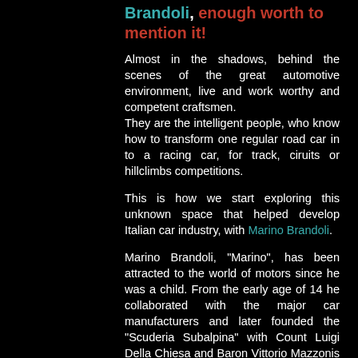Brandoli, enough worth to mention it!
Almost in the shadows, behind the scenes of the great automotive environment, live and work worthy and competent craftsmen.
They are the intelligent people, who know how to transform one regular road car in to a racing car, for track, ciruits or hillclimbs competitions.
This is how we start exploring this unknown space that helped develop Italian car industry, with Marino Brandoli.
Marino Brandoli, "Marino", has been attracted to the world of motors since he was a child. From the early age of 14 he collaborated with the major car manufacturers and later founded the "Scuderia Subalpina" with Count Luigi Della Chiesa and Baron Vittorio Mazzonis of Pralafera. In 1939 Marino